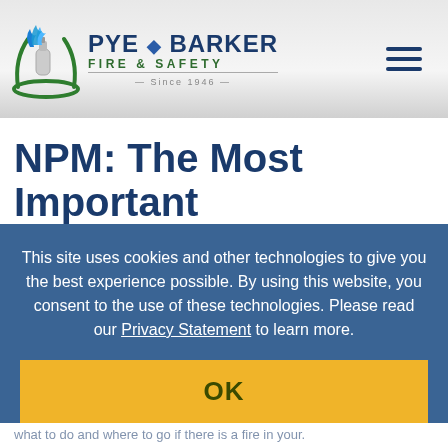[Figure (logo): Pye Barker Fire & Safety logo with flame and fire extinguisher icon, company name and 'Since 1946' tagline, with hamburger menu icon on the right]
NPM: The Most Important
Way to Prepare for a Fire
September 25, 2017
As National Preparedness Month comes to a close, it is time to share the most important way you can prepare your family for a fire-related emergency. A fire escape
This site uses cookies and other technologies to give you the best experience possible. By using this website, you consent to the use of these technologies. Please read our Privacy Statement to learn more.
OK
what to do and where to go if there is a fire in your.